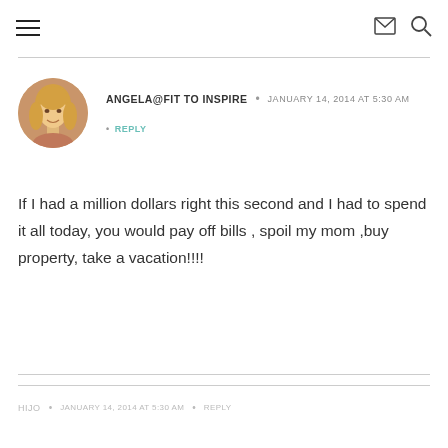≡  ✉  🔍
ANGELA@FIT TO INSPIRE  •  JANUARY 14, 2014 AT 5:30 AM
• REPLY

If I had a million dollars right this second and I had to spend it all today, you would pay off bills , spoil my mom ,buy property, take a vacation!!!!
HIJO  •  JANUARY 14, 2014 AT 5:30 AM  •